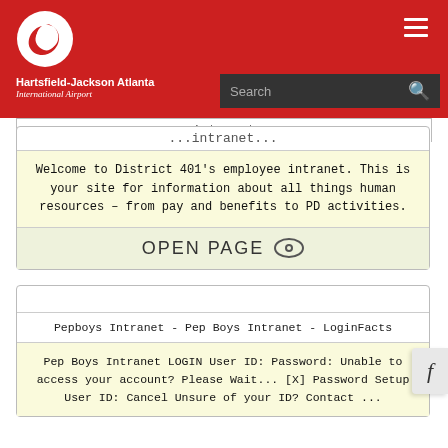[Figure (logo): Hartsfield-Jackson Atlanta International Airport logo with red background, white spiral logo mark, and white text]
...intranet...
Welcome to District 401's employee intranet. This is your site for information about all things human resources – from pay and benefits to PD activities.
OPEN PAGE
Pepboys Intranet - Pep Boys Intranet - LoginFacts
Pep Boys Intranet LOGIN User ID: Password: Unable to access your account? Please Wait... [X] Password Setup User ID: Cancel Unsure of your ID? Contact ...